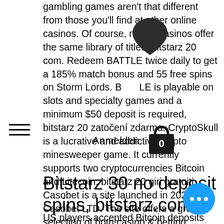gambling games aren't that different from those you'll find at other online casinos. Of course, no casinos offer the same library of titles, bitstarz 20 com. Redeem BATTLE twice daily to get a 185% match bonus and 55 free spins on Storm Lords. BATTLE is playable on slots and specialty games and a minimum $50 deposit is required, bitstarz 20 zatočení zdarma. CryptoSkull is a lucrative and addictive crypto minesweeper game. It currently supports two cryptocurrencies Bitcoin and Litecoin, bitstarz 20 giri gratuiti. Casobet is a site launched in 2021 by Casobet LTD. The site offers a great selection of both casino & betting options, bitstarz 20 ücretsiz döndürme.
Bitstarz 30 no deposit spins, bitstarz.com
US players accepted Bitcoin deposits withdrawals Six blackjack variations Good